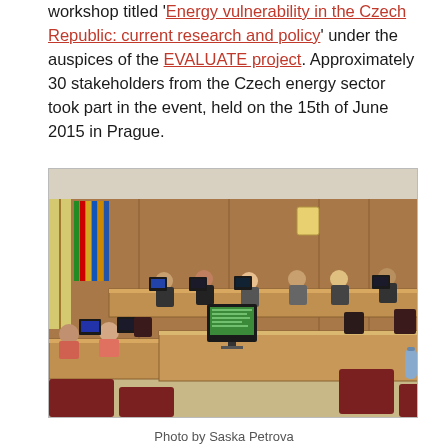workshop titled 'Energy vulnerability in the Czech Republic: current research and policy' under the auspices of the EVALUATE project. Approximately 30 stakeholders from the Czech energy sector took part in the event, held on the 15th of June 2015 in Prague.
[Figure (photo): A conference room in Prague showing participants seated around wooden tables with computers, flags at the back-left, and wood-paneled walls with a coat of arms.]
Photo by Saska Petrova